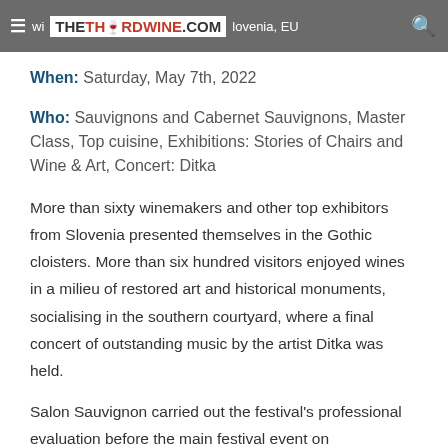≡ THETHIRDWINE.COM lovenia, EU 🔍
When: Saturday, May 7th, 2022
Who: Sauvignons and Cabernet Sauvignons, Master Class, Top cuisine, Exhibitions: Stories of Chairs and Wine & Art, Concert: Ditka
More than sixty winemakers and other top exhibitors from Slovenia presented themselves in the Gothic cloisters. More than six hundred visitors enjoyed wines in a milieu of restored art and historical monuments, socialising in the southern courtyard, where a final concert of outstanding music by the artist Ditka was held.
Salon Sauvignon carried out the festival's professional evaluation before the main festival event on Wednesday, May 4th, for the fifth time. The evaluation team was led by Andrej Rebernišek, director of KGZ Slovenija – Zavod Ptuj